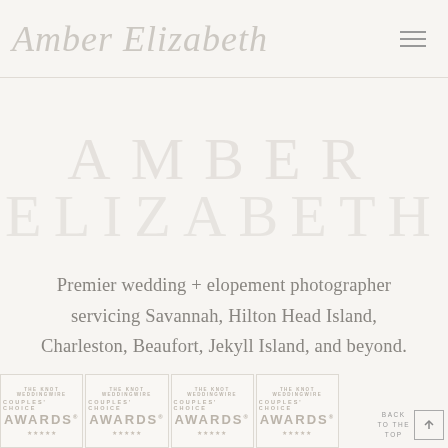Amber Elizabeth
AMBER ELIZABETH
Premier wedding + elopement photographer servicing Savannah, Hilton Head Island, Charleston, Beaufort, Jekyll Island, and beyond.
[Figure (logo): Four WeddingWire Couples Choice Awards badges in a row at the bottom of the page]
BACK TO THE TOP